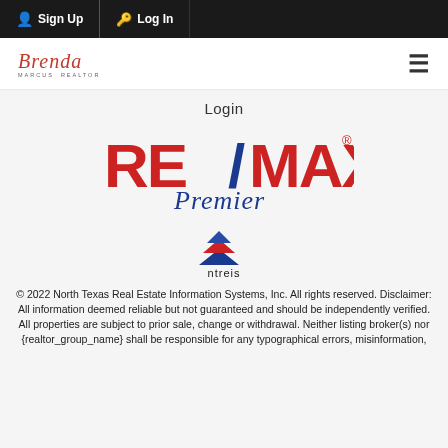Sign Up  Log In
[Figure (logo): Brenda realtor script logo in red cursive with small subtitle text]
Login
[Figure (logo): RE/MAX Premier logo — RE/MAX in red and blue block letters with blue slash, Premier in blue italic script below]
[Figure (logo): ntreis logo — red/blue stacked triangles above the word 'ntreis' in dark text]
© 2022 North Texas Real Estate Information Systems, Inc. All rights reserved. Disclaimer: All information deemed reliable but not guaranteed and should be independently verified. All properties are subject to prior sale, change or withdrawal. Neither listing broker(s) nor {realtor_group_name} shall be responsible for any typographical errors, misinformation,